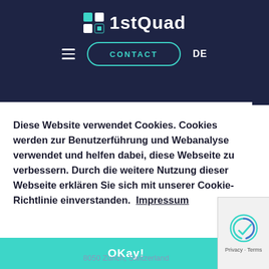[Figure (logo): 1stQuad logo with teal grid icon and white text on dark navy background]
≡  CONTACT  DE
Diese Website verwendet Cookies. Cookies werden zur Benutzerführung und Webanalyse verwendet und helfen dabei, diese Webseite zu verbessern. Durch die weitere Nutzung dieser Webseite erklären Sie sich mit unserer Cookie-Richtlinie einverstanden. Impressum
OKay!
8050 Zurich, Switzerland